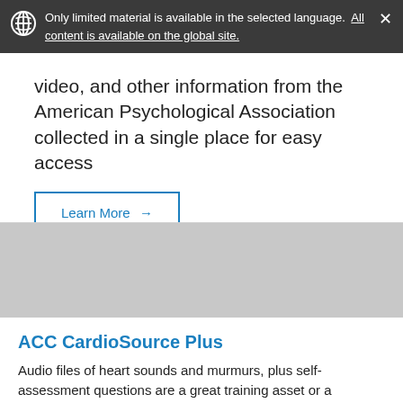Only limited material is available in the selected language. All content is available on the global site.
video, and other information from the American Psychological Association collected in a single place for easy access
Learn More →
[Figure (photo): Gray image placeholder area for a card thumbnail]
ACC CardioSource Plus
Audio files of heart sounds and murmurs, plus self-assessment questions are a great training asset or a